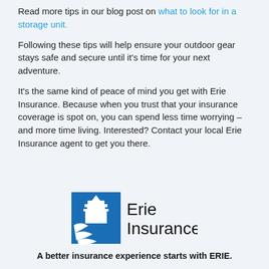Read more tips in our blog post on what to look for in a storage unit.
Following these tips will help ensure your outdoor gear stays safe and secure until it's time for your next adventure.
It's the same kind of peace of mind you get with Erie Insurance. Because when you trust that your insurance coverage is spot on, you can spend less time worrying – and more time living. Interested? Contact your local Erie Insurance agent to get you there.
[Figure (logo): Erie Insurance logo — blue building/eagle icon with 'Erie Insurance' text in black]
A better insurance experience starts with ERIE.